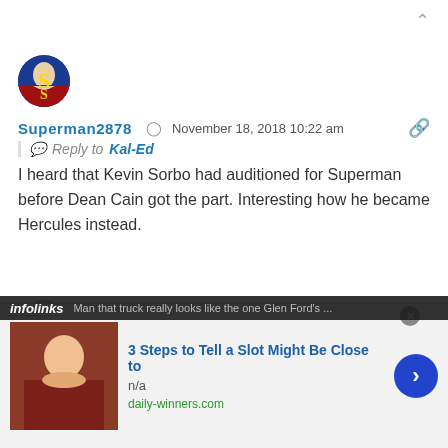Superman2878  ·  November 18, 2018 10:22 am · Reply to Kal-Ed · I heard that Kevin Sorbo had auditioned for Superman before Dean Cain got the part. Interesting how he became Hercules instead.
MattComics  ·  November 17, 2018 12:54 am · Man that truck really looks like the one Glen Ford's
[Figure (screenshot): Infolinks ad bar overlay with an advertisement: '3 Steps to Tell a Slot Might Be Close to', n/a, daily-winners.com, with a man's photo and blue arrow button]